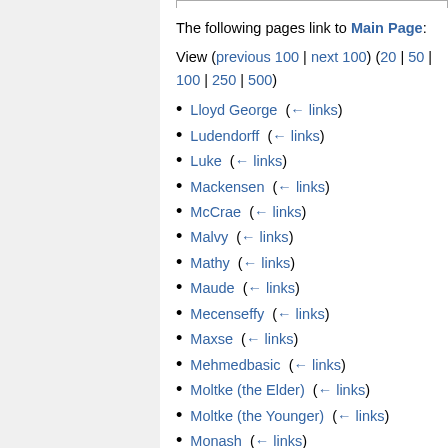The following pages link to Main Page:
View (previous 100 | next 100) (20 | 50 | 100 | 250 | 500)
Lloyd George  (← links)
Ludendorff  (← links)
Luke  (← links)
Mackensen  (← links)
McCrae  (← links)
Malvy  (← links)
Mathy  (← links)
Maude  (← links)
Mecenseffy  (← links)
Maxse  (← links)
Mehmedbasic  (← links)
Moltke (the Elder)  (← links)
Moltke (the Younger)  (← links)
Monash  (← links)
Mücke  (← links)